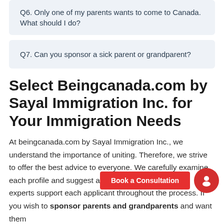Q6. Only one of my parents wants to come to Canada. What should I do?
Q7. Can you sponsor a sick parent or grandparent?
Select Beingcanada.com by Sayal Immigration Inc. for Your Immigration Needs
At beingcanada.com by Sayal Immigration Inc., we understand the importance of uniting. Therefore, we strive to offer the best advice to everyone. We carefully examine each profile and suggest a customized pathway. Our experts support each applicant throughout the process. If you wish to sponsor parents and grandparents and want them